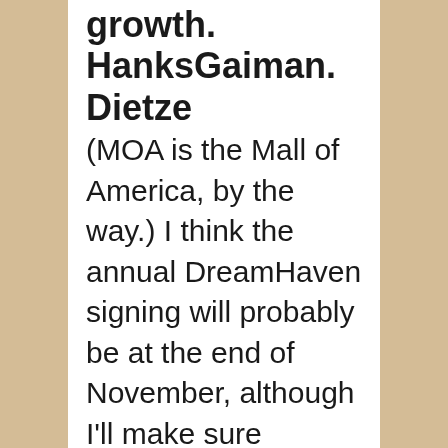growth. HanksGaiman. Dietze
(MOA is the Mall of America, by the way.) I think the annual DreamHaven signing will probably be at the end of November, although I'll make sure DreamHaven has signed stuff for everyone. (Actually I